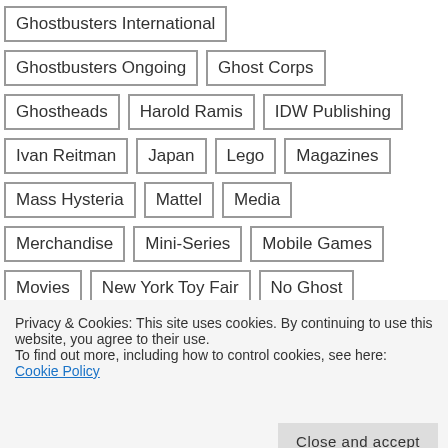Ghostbusters International
Ghostbusters Ongoing
Ghost Corps
Ghostheads
Harold Ramis
IDW Publishing
Ivan Reitman
Japan
Lego
Magazines
Mass Hysteria
Mattel
Media
Merchandise
Mini-Series
Mobile Games
Movies
New York Toy Fair
No Ghost
NYC Ghostbusters
Paul Feig
Personal
Privacy & Cookies: This site uses cookies. By continuing to use this website, you agree to their use.
To find out more, including how to control cookies, see here: Cookie Policy
Social Media
Sony
Sony Pictures